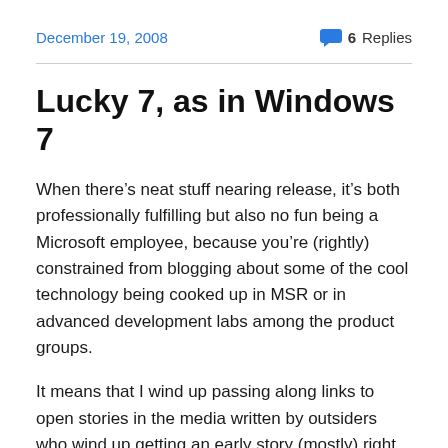December 19, 2008    6 Replies
Lucky 7, as in Windows 7
When there’s neat stuff nearing release, it’s both professionally fulfilling but also no fun being a Microsoft employee, because you’re (rightly) constrained from blogging about some of the cool technology being cooked up in MSR or in advanced development labs among the product groups.
It means that I wind up passing along links to open stories in the media written by outsiders who wind up getting an early story (mostly) right, through good solid reporting and insightful addition skills, i.e. 2+2=4.